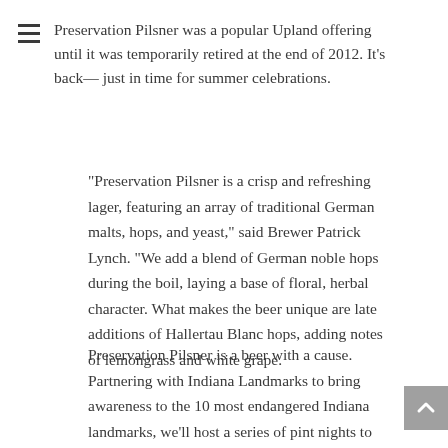Preservation Pilsner was a popular Upland offering until it was temporarily retired at the end of 2012. It's back— just in time for summer celebrations.
“Preservation Pilsner is a crisp and refreshing lager, featuring an array of traditional German malts, hops, and yeast,” said Brewer Patrick Lynch. “We add a blend of German noble hops during the boil, laying a base of floral, herbal character. What makes the beer unique are late additions of Hallertau Blanc hops, adding notes of lemongrass and white grape.
Preservation Pilsner is a beer with a cause. Partnering with Indiana Landmarks to bring awareness to the 10 most endangered Indiana landmarks, we’ll host a series of pint nights to benefit the organization. Indiana Landmarks works to revitalize historic structures that in turn